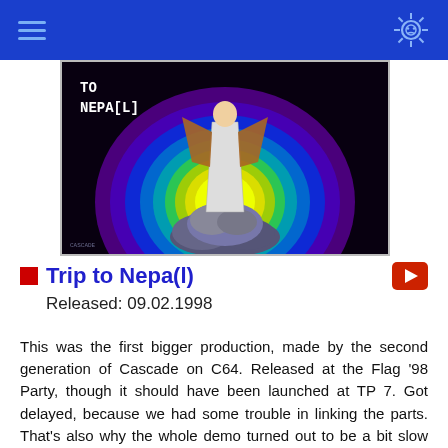[Figure (screenshot): Commodore 64 demo screenshot showing 'TO NEPA[L]' text and a robed figure standing on rocks in front of a glowing rainbow-colored circle on a dark background]
Trip to Nepa(l)
Released: 09.02.1998
This was the first bigger production, made by the second generation of Cascade on C64. Released at the Flag '98 Party, though it should have been launched at TP 7. Got delayed, because we had some trouble in linking the parts. That's also why the whole demo turned out to be a bit slow paced. Additional music credits to Zyron/Oxsid Planetary and Scortia/Bonzai.